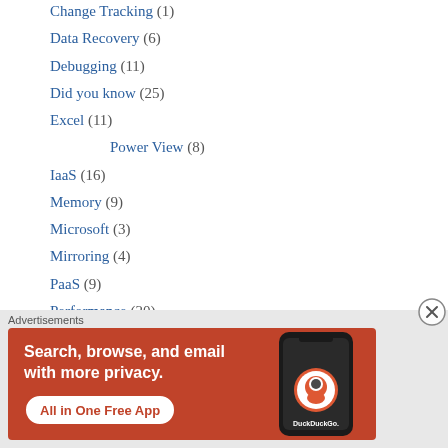Change Tracking (1)
Data Recovery (6)
Debugging (11)
Did you know (25)
Excel (11)
Power View (8)
IaaS (16)
Memory (9)
Microsoft (3)
Mirroring (4)
PaaS (9)
Performance (20)
Disk (2)
[Figure (infographic): DuckDuckGo advertisement banner: orange/red background with text 'Search, browse, and email with more privacy. All in One Free App' alongside a smartphone showing the DuckDuckGo app icon]
Advertisements